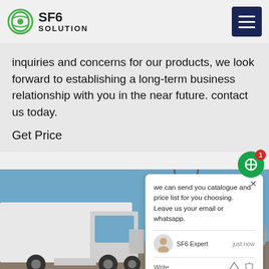SF6 SOLUTION
inquiries and concerns for our products, we look forward to establishing a long-term business relationship with you in the near future. contact us today.
Get Price
[Figure (photo): An Isuzu white service truck parked at an electrical substation with large transformers, pipes, and high-voltage transmission lines in the background under a blue sky.]
we can send you catalogue and price list for you choosing.
Leave us your email or whatsapp.

SF6 Expert   just now
Write